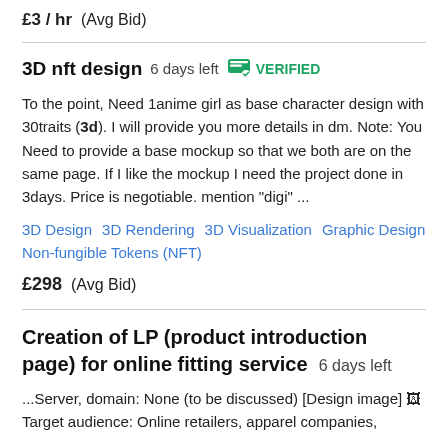£3 / hr  (Avg Bid)
3D nft design  6 days left  VERIFIED
To the point, Need 1anime girl as base character design with 30traits (3d). I will provide you more details in dm. Note: You Need to provide a base mockup so that we both are on the same page. If I like the mockup I need the project done in 3days. Price is negotiable. mention "digi" ...
3D Design
3D Rendering
3D Visualization
Graphic Design
Non-fungible Tokens (NFT)
£298  (Avg Bid)
Creation of LP (product introduction page) for online fitting service  6 days left
...Server, domain: None (to be discussed) [Design image] 🖼 Target audience: Online retailers, apparel companies,